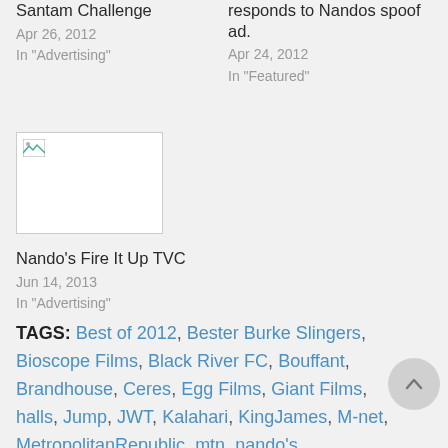Santam Challenge
Apr 26, 2012
In "Advertising"
responds to Nandos spoof ad.
Apr 24, 2012
In "Featured"
[Figure (photo): Broken image placeholder]
Nando's Fire It Up TVC
Jun 14, 2013
In "Advertising"
TAGS: Best of 2012, Bester Burke Slingers, Bioscope Films, Black River FC, Bouffant, Brandhouse, Ceres, Egg Films, Giant Films, halls, Jump, JWT, Kalahari, KingJames, M-net, MetropolitanRepublic, mtn, nando's